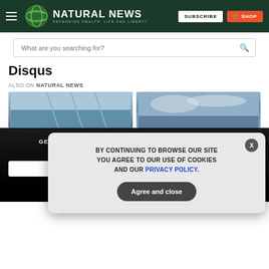[Figure (screenshot): Natural News website header with logo, hamburger menu, SUBSCRIBE and SHOP buttons on dark green background]
[Figure (screenshot): Search bar with placeholder text 'What are you searching for?' and magnifying glass icon]
Disqus
ALSO ON NATURAL NEWS
[Figure (photo): Two article thumbnail images side by side showing buildings and sky]
GET THE WORLD'S BEST NATURAL HEALTH NEWSLETTER DELIVERED STRAIGHT TO YOUR INBOX
[Figure (screenshot): Cookie consent popup with text: BY CONTINUING TO BROWSE OUR SITE YOU AGREE TO OUR USE OF COOKIES AND OUR PRIVACY POLICY. with Agree and close button]